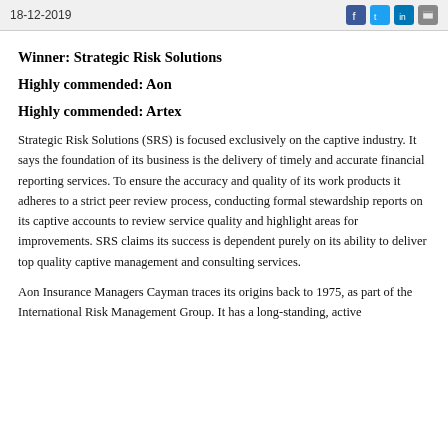18-12-2019
Winner: Strategic Risk Solutions
Highly commended: Aon
Highly commended: Artex
Strategic Risk Solutions (SRS) is focused exclusively on the captive industry. It says the foundation of its business is the delivery of timely and accurate financial reporting services. To ensure the accuracy and quality of its work products it adheres to a strict peer review process, conducting formal stewardship reports on its captive accounts to review service quality and highlight areas for improvements. SRS claims its success is dependent purely on its ability to deliver top quality captive management and consulting services.
Aon Insurance Managers Cayman traces its origins back to 1975, as part of the International Risk Management Group. It has a long-standing, active...